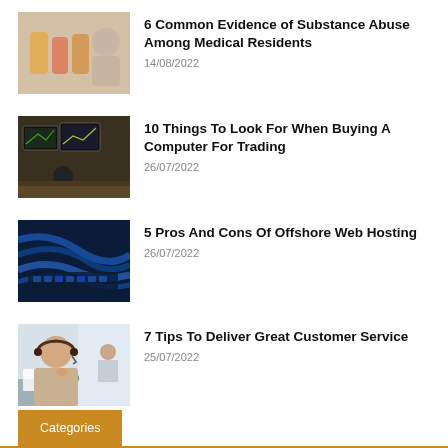[Figure (photo): Blurred image of prescription medicine bottles with a person in background]
6 Common Evidence of Substance Abuse Among Medical Residents
14/08/2022
[Figure (photo): Person sitting at trading desk with multiple computer monitors showing charts]
10 Things To Look For When Buying A Computer For Trading
26/07/2022
[Figure (photo): Blue-toned image of network cables and server hardware]
5 Pros And Cons Of Offshore Web Hosting
26/07/2022
[Figure (photo): Woman with headset at customer service desk in bright office]
7 Tips To Deliver Great Customer Service
25/07/2022
Categories